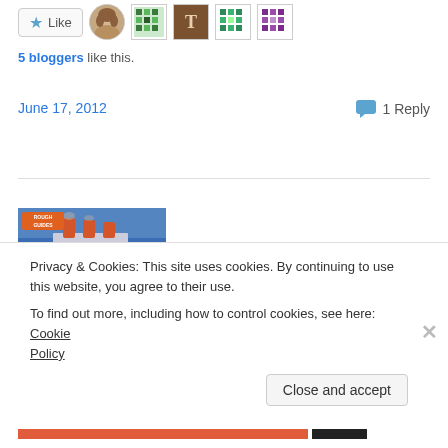[Figure (screenshot): Like button with star icon and user avatar icons (photo and pixel art avatars) in a row]
5 bloggers like this.
June 17, 2012
1 Reply
[Figure (photo): Book cover: The Rough Guide to The Titanic — showing a large ocean liner (the Titanic) sailing through blue waves with a red bottom banner and white text]
Privacy & Cookies: This site uses cookies. By continuing to use this website, you agree to their use.
To find out more, including how to control cookies, see here: Cookie Policy
Close and accept